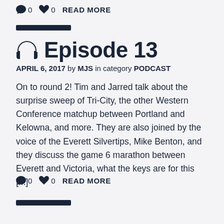🗨 0  ♥ 0  READ MORE
Episode 13
APRIL 6, 2017 by MJS in category PODCAST
On to round 2! Tim and Jarred talk about the surprise sweep of Tri-City, the other Western Conference matchup between Portland and Kelowna, and more. They are also joined by the voice of the Everett Silvertips, Mike Benton, and they discuss the game 6 marathon between Everett and Victoria, what the keys are for this [...]
🗨 0  ♥ 0  READ MORE